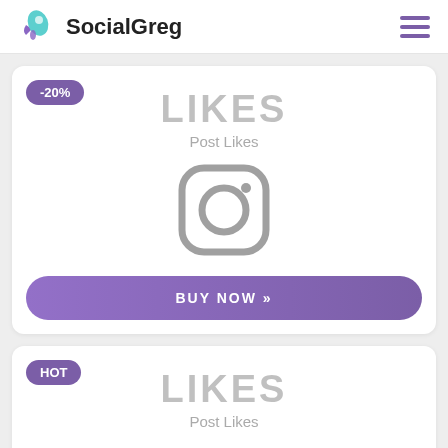SocialGreg
[Figure (screenshot): Product card with -20% badge, LIKES title, Post Likes subtitle, Instagram icon, and BUY NOW button]
[Figure (screenshot): Second product card with HOT badge, LIKES title, Post Likes subtitle (partially visible)]